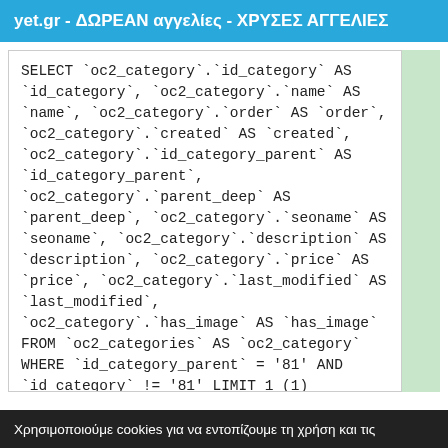yet.gr - ΔΩΡΕΑΝ αγγελίες - ΧΡΥΣΕΣ ΑΓΓΕΛΙΕΣ
SELECT `oc2_category`.`id_category` AS `id_category`, `oc2_category`.`name` AS `name`, `oc2_category`.`order` AS `order`, `oc2_category`.`created` AS `created`, `oc2_category`.`id_category_parent` AS `id_category_parent`, `oc2_category`.`parent_deep` AS `parent_deep`, `oc2_category`.`seoname` AS `seoname`, `oc2_category`.`description` AS `description`, `oc2_category`.`price` AS `price`, `oc2_category`.`last_modified` AS `last_modified`, `oc2_category`.`has_image` AS `has_image` FROM `oc2_categories` AS `oc2_category` WHERE `id_category_parent` = '81' AND `id_category` != '81' LIMIT 1 (1)
Χρησιμοποιούμε cookies για να εντοπίζουμε τη χρήση και τις